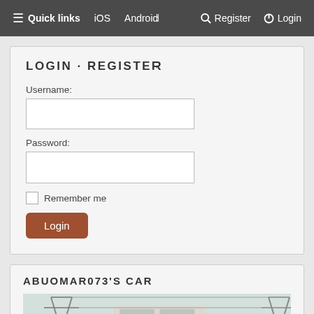≡ Quick links   iOS   Android   🔑 Register   ⏻ Login
LOGIN · REGISTER
Username:
Password:
Remember me
Login
ABUOMAR073'S CAR
[Figure (photo): Photo of a car with electricity pylons in the background]